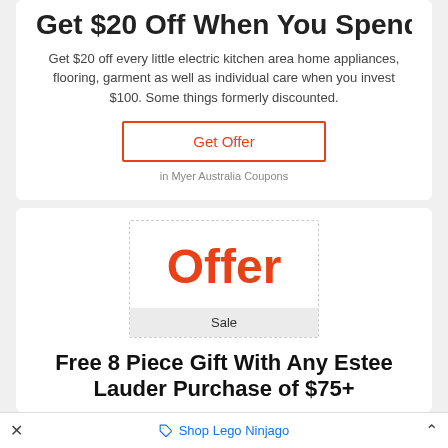Get $20 Off When You Spend $100
Get $20 off every little electric kitchen area home appliances, flooring, garment as well as individual care when you invest $100. Some things formerly discounted.
Get Offer
in Myer Australia Coupons
[Figure (other): Offer badge box showing 'Offer' in large red text with a 'Sale' bar below]
Free 8 Piece Gift With Any Estee Lauder Purchase of $75+
× Shop Lego Ninjago ^